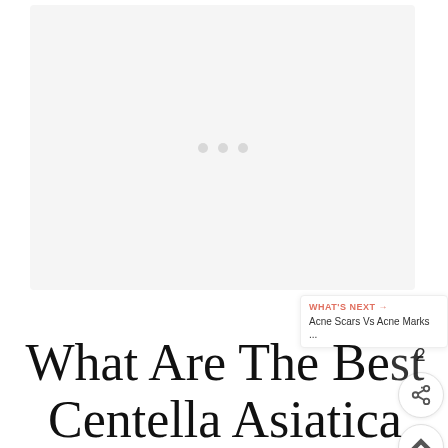[Figure (other): Light gray placeholder image area with three dots indicating loading state]
What Are The Best Centella Asiatica